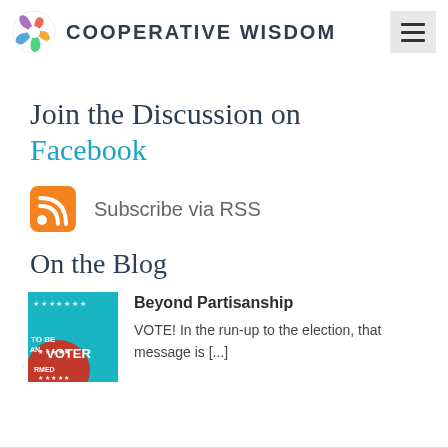COOPERATIVE WISDOM
Join the Discussion on Facebook
Subscribe via RSS
On the Blog
[Figure (photo): Blog thumbnail image for Beyond Partisanship post showing a voter registration graphic with text 'TO BE VOTER INFORMED' on a teal background with red dome shape]
Beyond Partisanship
VOTE! In the run-up to the election, that message is [...]